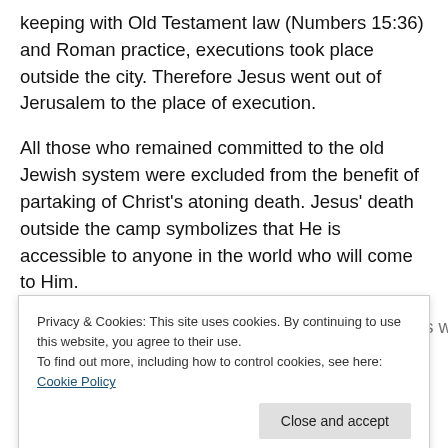keeping with Old Testament law (Numbers 15:36) and Roman practice, executions took place outside the city. Therefore Jesus went out of Jerusalem to the place of execution.
All those who remained committed to the old Jewish system were excluded from the benefit of partaking of Christ's atoning death. Jesus' death outside the camp symbolizes that He is accessible to anyone in the world who will come to Him.
Jews considered one crucified to be cursed. Jesus was...
Privacy & Cookies: This site uses cookies. By continuing to use this website, you agree to their use.
To find out more, including how to control cookies, see here: Cookie Policy